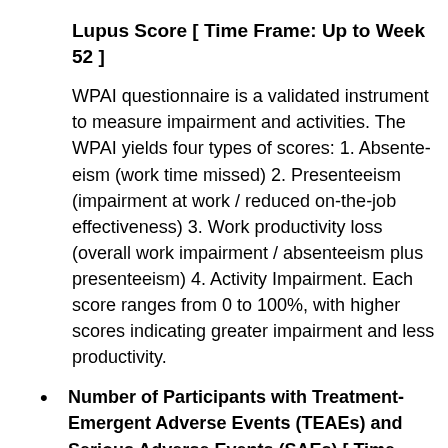Lupus Score [ Time Frame: Up to Week 52 ]
WPAI questionnaire is a validated instrument to measure impairment and activities. The WPAI yields four types of scores: 1. Absenteeism (work time missed) 2. Presenteeism (impairment at work / reduced on-the-job effectiveness) 3. Work productivity loss (overall work impairment / absenteeism plus presenteeism) 4. Activity Impairment. Each score ranges from 0 to 100%, with higher scores indicating greater impairment and less productivity.
Number of Participants with Treatment-Emergent Adverse Events (TEAEs) and Serious Adverse Events (SAEs) [ Time Frame: Up to Week 52 ]
An adverse event (AE) is any untoward medical occurrence in a clinical investigation participant administered a pharmaceutical product and does not necessarily have a causal relationship with this treatment. A TEAE is an AE that started or worsened in severity after the first dose of study treatment through 28 days after the last dose of study treatment or end of study visit date, whichever comes earlier. An SAE is any untoward medical occurrence that at any dose results in death (a life-threatening event), in the opinion of the investigator, places the participant at immediate risk of death, requires hospitalization or prolongation of existing hospitalization, results...